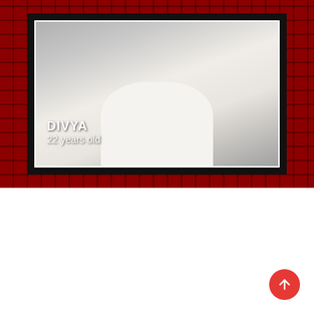[Figure (photo): Profile photo of a person named Divya wearing a white v-neck sweater, shown from chest up, inside a framed card with dark border on a red brick-pattern background. Name 'DIVYA' and '22 years old' appear as overlay text on the photo.]
DIVYA
22 years old
[Figure (photo): Lower section with dark magenta/pink background with a scroll-up button (red circle with white arrow) on the right and partial figure on the left edge.]
Agency Provide You Hot Chicks At Your Door.